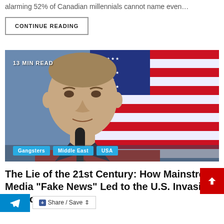alarming 52% of Canadian millennials cannot name even…
CONTINUE READING
[Figure (photo): A man speaking at a microphone in front of an American flag, with tags: Gangsters, Middle East, USA. Overlay text: 13 MIN READ]
The Lie of the 21st Century: How Mainstream Media "Fake News" Led to the U.S. Invasion of Iraq